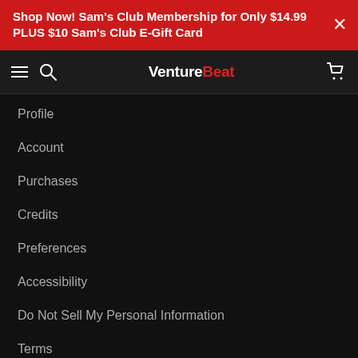Shop Now! Sam's Club Membership for Only $14.99 PLUS $10 Sam's Club E-Gift Card
[Figure (screenshot): VentureBeat navigation bar with hamburger menu, search icon, logo, and cart icon]
Profile
Account
Purchases
Credits
Preferences
Accessibility
Do Not Sell My Personal Information
Terms
Privacy
[Figure (logo): BBB Accredited Business badge]
Made in Venice, CA & powered by stackcommerce